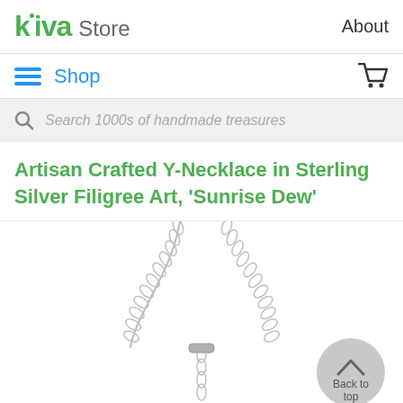kiva Store | About
Shop
Search 1000s of handmade treasures
Artisan Crafted Y-Necklace in Sterling Silver Filigree Art, 'Sunrise Dew'
[Figure (photo): Photo of a sterling silver Y-necklace (chain links visible) displayed on white background, with a 'Back to top' button overlay in lower right corner]